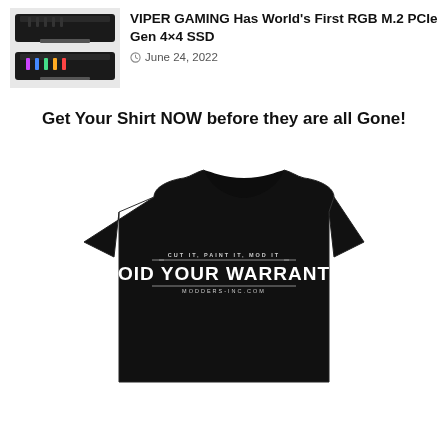[Figure (photo): Thumbnail photo of two black M.2 SSD modules with RGB lighting strips]
VIPER GAMING Has World's First RGB M.2 PCIe Gen 4×4 SSD
June 24, 2022
Get Your Shirt NOW before they are all Gone!
[Figure (photo): Black t-shirt with text 'CUT IT, PAINT IT, MOD IT — VOID YOUR WARRANTY — MODDERS-INC.COM' printed on the front]